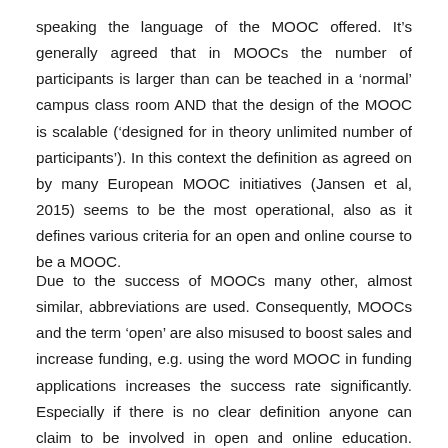speaking the language of the MOOC offered. It's generally agreed that in MOOCs the number of participants is larger than can be teached in a 'normal' campus class room AND that the design of the MOOC is scalable ('designed for in theory unlimited number of participants'). In this context the definition as agreed on by many European MOOC initiatives (Jansen et al, 2015) seems to be the most operational, also as it defines various criteria for an open and online course to be a MOOC.
Due to the success of MOOCs many other, almost similar, abbreviations are used. Consequently, MOOCs and the term 'open' are also misused to boost sales and increase funding, e.g. using the word MOOC in funding applications increases the success rate significantly. Especially if there is no clear definition anyone can claim to be involved in open and online education. MOOCs, etc. Other parties with more